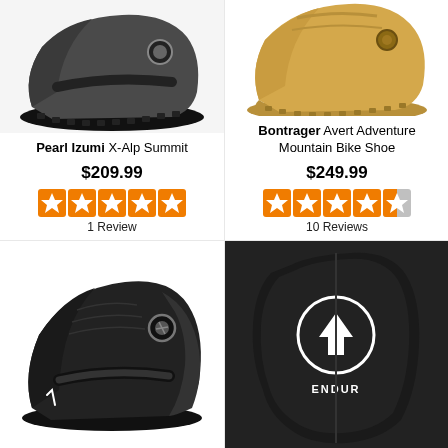[Figure (photo): Pearl Izumi X-Alp Summit mountain bike shoe, dark gray, side view]
Pearl Izumi
X-Alp Summit
$209.99
[Figure (infographic): 5 orange stars rating]
1 Review
[Figure (photo): Bontrager Avert Adventure Mountain Bike Shoe, tan/wheat color, side view on white background]
Bontrager
Avert Adventure Mountain Bike Shoe
$249.99
[Figure (infographic): 4.5 orange stars rating]
10 Reviews
[Figure (photo): Black cycling road shoe with BOA dial, side view]
[Figure (photo): Endura black cycling shoe cover/overshoe with logo]